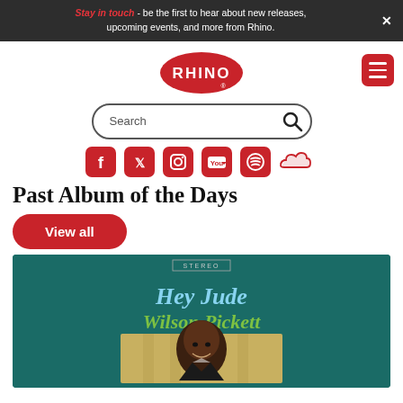Stay in touch - be the first to hear about new releases, upcoming events, and more from Rhino.
[Figure (logo): Rhino Records red oval logo with white RHINO text]
[Figure (screenshot): Search bar with magnifying glass icon]
[Figure (infographic): Social media icons: Facebook, Twitter, Instagram, YouTube, Spotify, SoundCloud]
Past Album of the Days
View all
[Figure (photo): Album cover for Hey Jude by Wilson Pickett - teal background with cursive text and a portrait photo of Wilson Pickett]